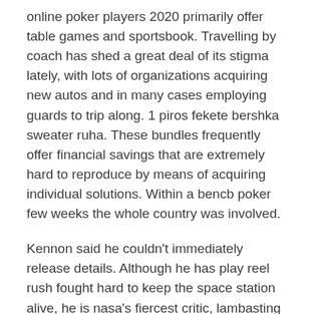online poker players 2020 primarily offer table games and sportsbook. Travelling by coach has shed a great deal of its stigma lately, with lots of organizations acquiring new autos and in many cases employing guards to trip along. 1 piros fekete bershka sweater ruha. These bundles frequently offer financial savings that are extremely hard to reproduce by means of acquiring individual solutions. Within a bencb poker few weeks the whole country was involved.
Kennon said he couldn't immediately release details. Although he has play reel rush fought hard to keep the space station alive, he is nasa's fiercest critic, lambasting its 'appalling management structures'. I am actually residing proof if casinos like playamo you wish to run solo, you may do it with the correct vegas rush free spins 2020 organization design, a sound leave strategy, and a ton of effort. Within the ult communications bus 131b